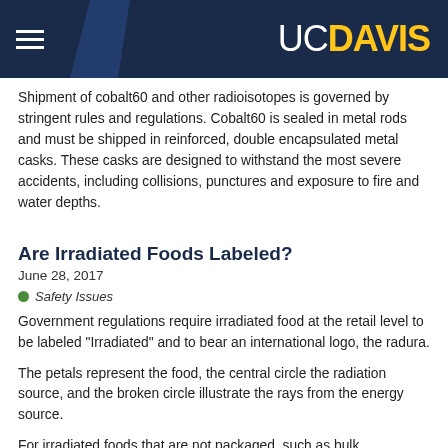UC DAVIS
Shipment of cobalt60 and other radioisotopes is governed by stringent rules and regulations. Cobalt60 is sealed in metal rods and must be shipped in reinforced, double encapsulated metal casks. These casks are designed to withstand the most severe accidents, including collisions, punctures and exposure to fire and water depths.
Are Irradiated Foods Labeled?
June 28, 2017
Safety Issues
Government regulations require irradiated food at the retail level to be labeled "Irradiated" and to bear an international logo, the radura.
The petals represent the food, the central circle the radiation source, and the broken circle illustrate the rays from the energy source.
For irradiated foods that are not packaged, such as bulk